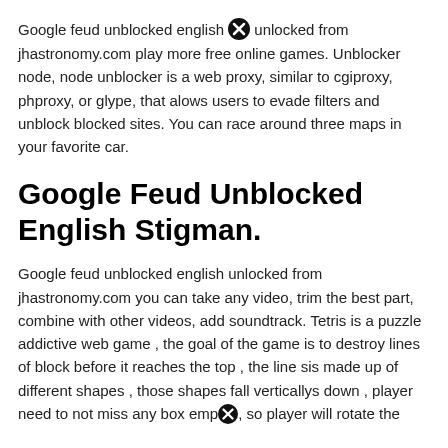Google feud unblocked english unlocked from jhastronomy.com play more free online games. Unblocker node, node unblocker is a web proxy, similar to cgiproxy, phproxy, or glype, that alows users to evade filters and unblock blocked sites. You can race around three maps in your favorite car.
Google Feud Unblocked English Stigman.
Google feud unblocked english unlocked from jhastronomy.com you can take any video, trim the best part, combine with other videos, add soundtrack. Tetris is a puzzle addictive web game , the goal of the game is to destroy lines of block before it reaches the top , the line sis made up of different shapes , those shapes fall verticallys down , player need to not miss any box emp[X], so player will rotate the